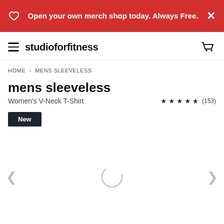Open your own merch shop today. Always Free.
studioforfitness
HOME > MENS SLEEVELESS
mens sleeveless
Women's V-Neck T-Shirt (153) 4.5 stars
New